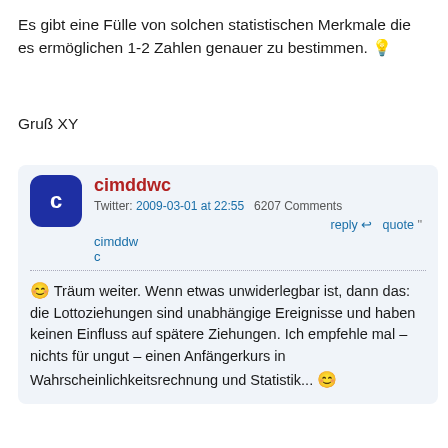Es gibt eine Fülle von solchen statistischen Merkmale die es ermöglichen 1-2 Zahlen genauer zu bestimmen. 💡
Gruß XY
cimddwc
Twitter: 2009-03-01 at 22:55  6207 Comments
reply  quote
cimddwc
😊 Träum weiter. Wenn etwas unwiderlegbar ist, dann das: die Lottoziehungen sind unabhängige Ereignisse und haben keinen Einfluss auf spätere Ziehungen. Ich empfehle mal – nichts für ungut – einen Anfängerkurs in Wahrscheinlichkeitsrechnung und Statistik... 😊